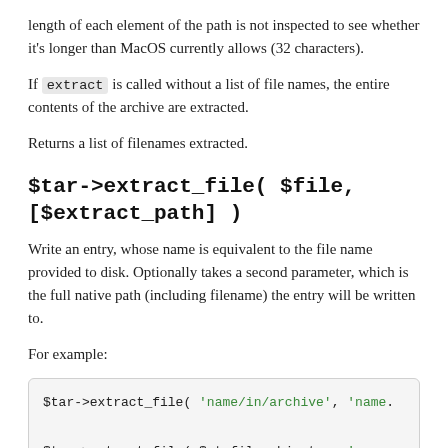length of each element of the path is not inspected to see whether it's longer than MacOS currently allows (32 characters).
If extract is called without a list of file names, the entire contents of the archive are extracted.
Returns a list of filenames extracted.
$tar->extract_file( $file, [$extract_path] )
Write an entry, whose name is equivalent to the file name provided to disk. Optionally takes a second parameter, which is the full native path (including filename) the entry will be written to.
For example:
[Figure (screenshot): Code block showing two lines: $tar->extract_file( 'name/in/archive', 'name... and $tar->extract_file( $at_file_object, 'name...]